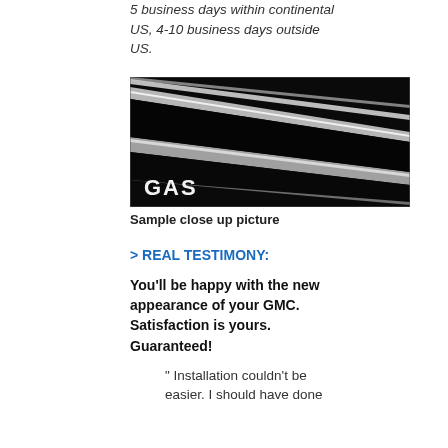5 business days within continental US, 4-10 business days outside US.
[Figure (photo): Close-up of black metallic grille or trim strips with chrome highlights and GAS logo text in white at bottom left.]
Sample close up picture
> REAL TESTIMONY:
You'll be happy with the new appearance of your GMC. Satisfaction is yours. Guaranteed!
" Installation couldn't be easier. I should have done